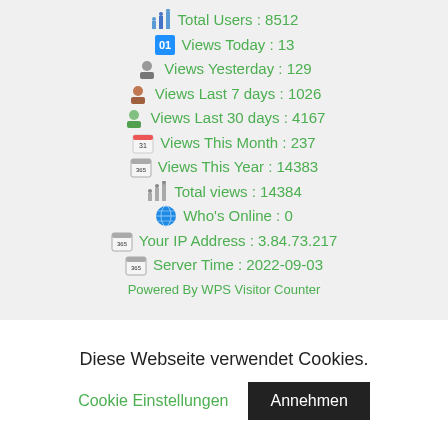Total Users : 8512
Views Today : 13
Views Yesterday : 129
Views Last 7 days : 1026
Views Last 30 days : 4167
Views This Month : 237
Views This Year : 14383
Total views : 14384
Who's Online : 0
Your IP Address : 3.84.73.217
Server Time : 2022-09-03
Powered By WPS Visitor Counter
Diese Webseite verwendet Cookies.
Cookie Einstellungen
Annehmen